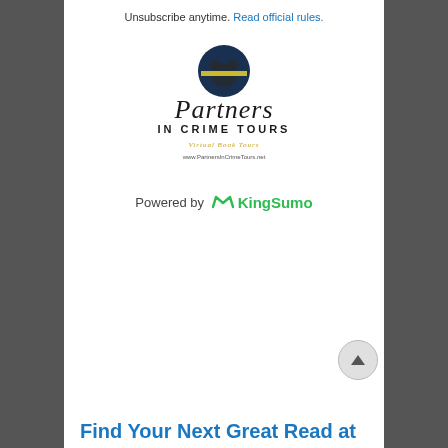Unsubscribe anytime. Read official rules.
[Figure (logo): Partners in Crime Tours logo with circular photo and handwritten/printed text, tagline 'Virtual Book Tours', website www.PartnersInCrimeTours.net]
Powered by KingSumo
Find Your Next Great Read at